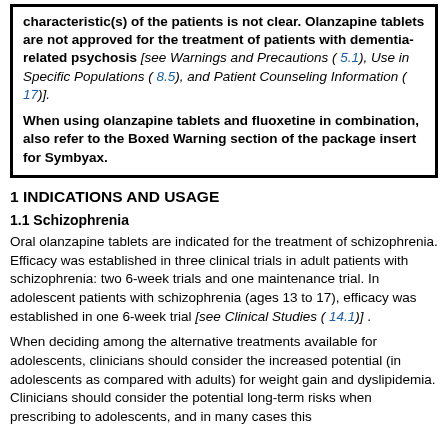characteristic(s) of the patients is not clear. Olanzapine tablets are not approved for the treatment of patients with dementia-related psychosis [see Warnings and Precautions ( 5.1), Use in Specific Populations ( 8.5), and Patient Counseling Information ( 17)].
When using olanzapine tablets and fluoxetine in combination, also refer to the Boxed Warning section of the package insert for Symbyax.
1 INDICATIONS AND USAGE
1.1 Schizophrenia
Oral olanzapine tablets are indicated for the treatment of schizophrenia. Efficacy was established in three clinical trials in adult patients with schizophrenia: two 6-week trials and one maintenance trial. In adolescent patients with schizophrenia (ages 13 to 17), efficacy was established in one 6-week trial [see Clinical Studies ( 14.1)] .
When deciding among the alternative treatments available for adolescents, clinicians should consider the increased potential (in adolescents as compared with adults) for weight gain and dyslipidemia. Clinicians should consider the potential long-term risks when prescribing to adolescents, and in many cases this